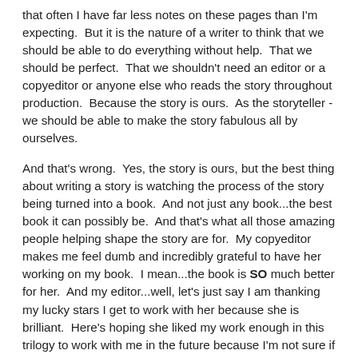that often I have far less notes on these pages than I'm expecting.  But it is the nature of a writer to think that we should be able to do everything without help.  That we should be perfect.  That we shouldn't need an editor or a copyeditor or anyone else who reads the story throughout production.  Because the story is ours.  As the storyteller -we should be able to make the story fabulous all by ourselves.
And that's wrong.  Yes, the story is ours, but the best thing about writing a story is watching the process of the story being turned into a book.  And not just any book...the best book it can possibly be.  And that's what all those amazing people helping shape the story are for.  My copyeditor makes me feel dumb and incredibly grateful to have her working on my book.  I mean...the book is SO much better for her.  And my editor...well, let's just say I am thanking my lucky stars I get to work with her because she is brilliant.  Here's hoping she liked my work enough in this trilogy to work with me in the future because I'm not sure if my work could ever be as strong without her.
Writers feel dumb a lot.  We feel stupid when we don't know